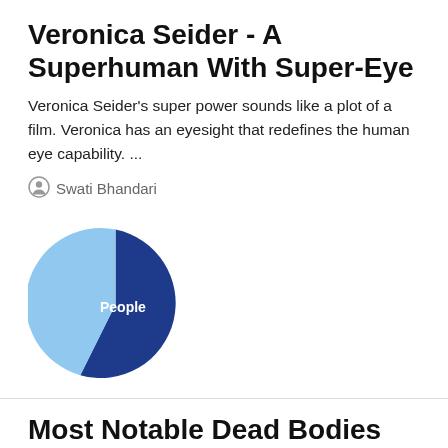Veronica Seider - A Superhuman With Super-Eye
Veronica Seider’s super power sounds like a plot of a film. Veronica has an eyesight that redefines the human eye capability. ...
Swati Bhandari
[Figure (pie-chart): People]
Most Notable Dead Bodies Left On Mount Everest
The world’s highest mountain – Mount Everest not only serves ...